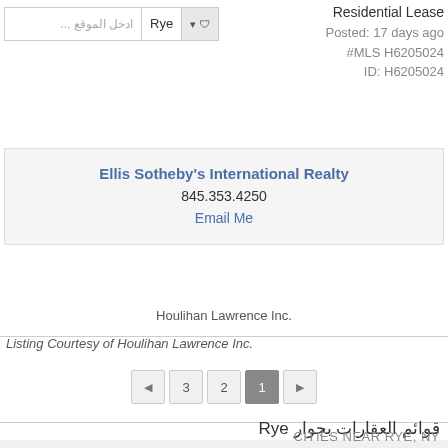Residential Lease
Posted: 17 days ago
#MLS H6205024
ID: H6205024
Ellis Sotheby's International Realty
845.353.4250
Email Me
Houlihan Lawrence Inc.
Listing Courtesy of Houlihan Lawrence Inc.
3 2 1 pagination
قوائم العقارات بجوار Rye
CITIES NEAR RYE, NY